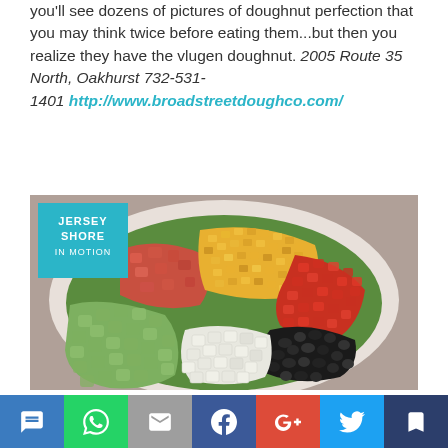you'll see dozens of pictures of doughnut perfection that you may think twice before eating them...but then you realize they have the vlugen doughnut. 2005 Route 35 North, Oakhurst 732-531-1401 http://www.broadstreetdoughco.com/
[Figure (photo): A colorful salad bowl with sections of corn, tomato, red peppers, black beans, white cheese cubes, avocado, and greens. In the upper left corner is a teal badge that reads JERSEY SHORE IN MOTION.]